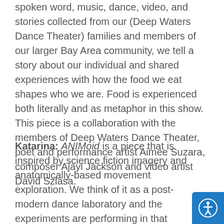spoken word, music, dance, video, and stories collected from our (Deep Waters Dance Theater) families and members of our larger Bay Area community, we tell a story about our individual and shared experiences with how the food we eat shapes who we are. Food is experienced both literally and as metaphor in this show. This piece is a collaboration with the members of Deep Waters Dance Theater, poet and performance artist Aimee Suzara, composer Ajayi Jackson and video artist David Szlasa.
Katarina: ANIMoid is a piece that is inspired by science fiction imagery and anatomically-based movement exploration. We think of it as a post-modern dance laboratory and the experiments are performing in that laboratory starts with th...